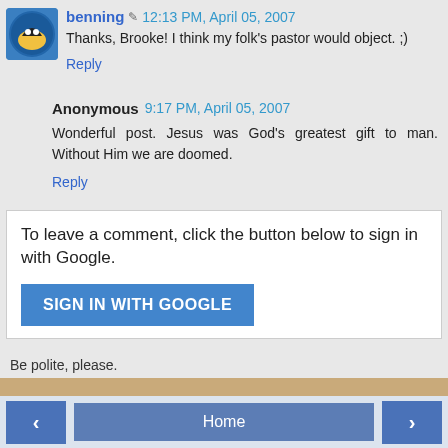benning 12:13 PM, April 05, 2007
Thanks, Brooke! I think my folk's pastor would object. ;)
Reply
Anonymous 9:17 PM, April 05, 2007
Wonderful post. Jesus was God's greatest gift to man. Without Him we are doomed.
Reply
To leave a comment, click the button below to sign in with Google.
SIGN IN WITH GOOGLE
Be polite, please.
Home